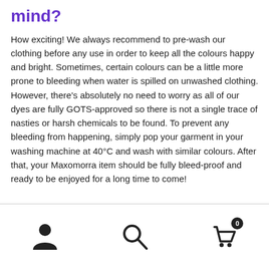mind?
How exciting! We always recommend to pre-wash our clothing before any use in order to keep all the colours happy and bright. Sometimes, certain colours can be a little more prone to bleeding when water is spilled on unwashed clothing. However, there's absolutely no need to worry as all of our dyes are fully GOTS-approved so there is not a single trace of nasties or harsh chemicals to be found. To prevent any bleeding from happening, simply pop your garment in your washing machine at 40°C and wash with similar colours. After that, your Maxomorra item should be fully bleed-proof and ready to be enjoyed for a long time to come!
User icon, Search icon, Cart icon with badge 0